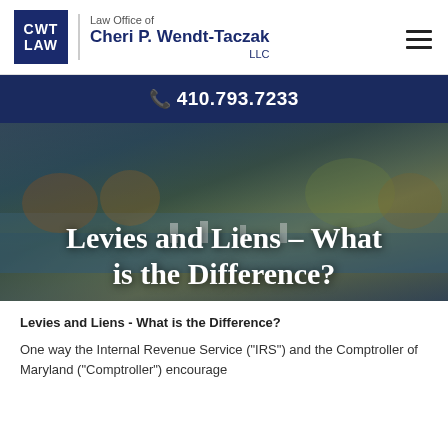[Figure (logo): CWT LAW logo with firm name: Law Office of Cheri P. Wendt-Taczak LLC]
410.793.7233
[Figure (photo): Aerial photo of a harbor with boats and autumn foliage, overlaid with title text]
Levies and Liens - What is the Difference?
Levies and Liens - What is the Difference?
One way the Internal Revenue Service ("IRS") and the Comptroller of Maryland ("Comptroller") encourage